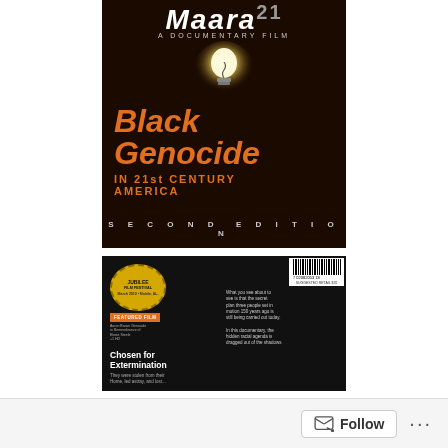[Figure (photo): DVD front cover of 'Maara - A Documentary Film: Black Genocide in 21st Century America, Second Edition'. Dark background with a lit light bulb at top. Large orange italic text reads 'Black Genocide' with subtitle 'IN 21st CENTURY AMERICA'. Bottom reads 'SECOND EDITION' in spaced letters.]
[Figure (photo): DVD back cover. Left side shows a yellow 'Jubilee Film Festival Featured Film' badge, orange 'Chosen for Extermination' title, and small grey body text. Right side shows a barcode at top right and descriptive text: 'What you see about to see is that the secret plan three people set in motion 150 years ago is still being carried out today. In this documentary, the hidden racial agenda is dragged out of the shadows.']
Follow